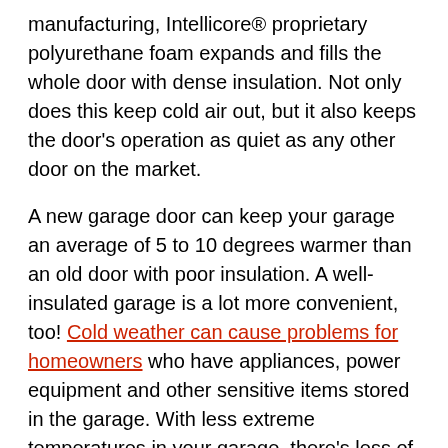manufacturing, Intellicore® proprietary polyurethane foam expands and fills the whole door with dense insulation. Not only does this keep cold air out, but it also keeps the door's operation as quiet as any other door on the market.
A new garage door can keep your garage an average of 5 to 10 degrees warmer than an old door with poor insulation. A well-insulated garage is a lot more convenient, too! Cold weather can cause problems for homeowners who have appliances, power equipment and other sensitive items stored in the garage. With less extreme temperatures in your garage, there's less of a chance that exposed pipes and appliances will freeze. Being active in the winter usually means keeping some